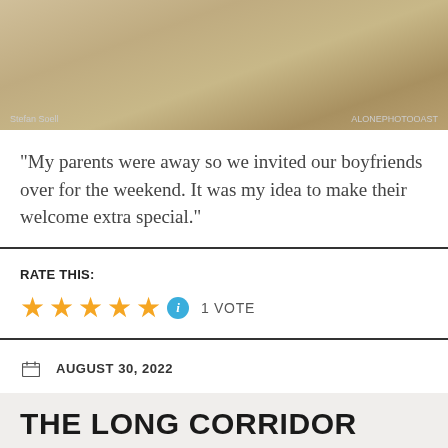[Figure (photo): Photo showing bare feet on a stone or sandy surface, with decorative ironwork visible. Photo credits: Stefan Soell (left) and another credit (right).]
“My parents were away so we invited our boyfriends over for the weekend. It was my idea to make their welcome extra special.”
RATE THIS:
★★★★★ ⓘ 1 VOTE
AUGUST 30, 2022
ENF, NUDE
LEAVE A COMMENT
THE LONG CORRIDOR